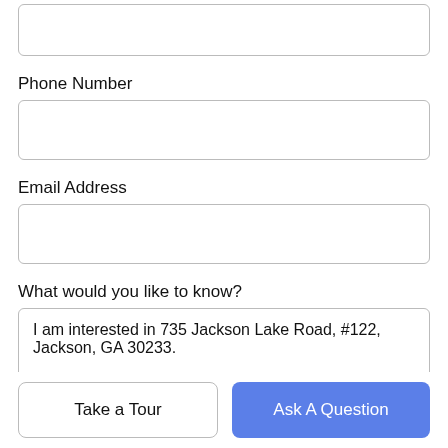Phone Number
Email Address
What would you like to know?
I am interested in 735 Jackson Lake Road, #122, Jackson, GA 30233.
Take a Tour
Ask A Question